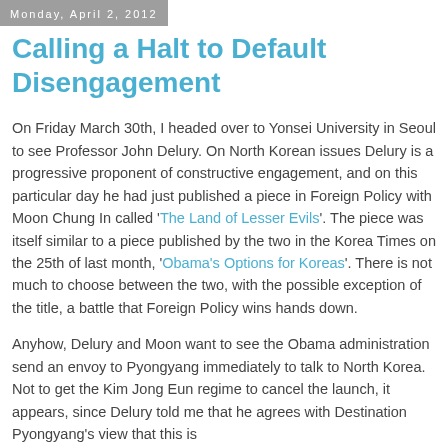Monday, April 2, 2012
Calling a Halt to Default Disengagement
On Friday March 30th, I headed over to Yonsei University in Seoul to see Professor John Delury. On North Korean issues Delury is a progressive proponent of constructive engagement, and on this particular day he had just published a piece in Foreign Policy with Moon Chung In called 'The Land of Lesser Evils'. The piece was itself similar to a piece published by the two in the Korea Times on the 25th of last month, 'Obama's Options for Koreas'. There is not much to choose between the two, with the possible exception of the title, a battle that Foreign Policy wins hands down.
Anyhow, Delury and Moon want to see the Obama administration send an envoy to Pyongyang immediately to talk to North Korea. Not to get the Kim Jong Eun regime to cancel the launch, it appears, since Delury told me that he agrees with Destination Pyongyang's view that this is